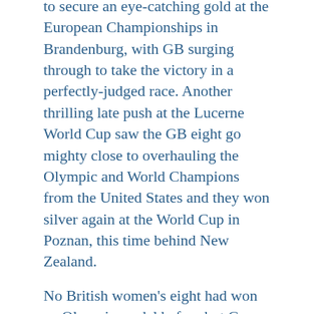to secure an eye-catching gold at the European Championships in Brandenburg, with GB surging through to take the victory in a perfectly-judged race. Another thrilling late push at the Lucerne World Cup saw the GB eight go mighty close to overhauling the Olympic and World Champions from the United States and they won silver again at the World Cup in Poznan, this time behind New Zealand.
No British women's eight had won an Olympic medal before but Greves and her crew mates ended that wait at Rio 2016. They took silver in a photo finish after an epic race that featured another trademark surge through the field in the second half.
Greves also raced in the women's eight